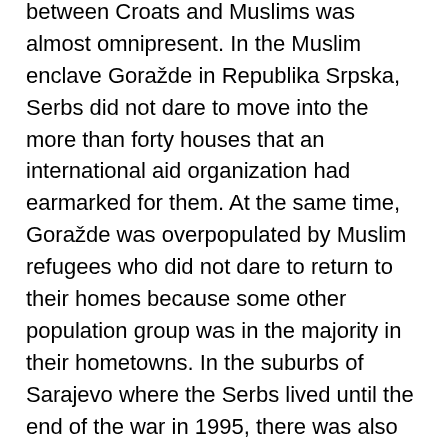between Croats and Muslims was almost omnipresent. In the Muslim enclave Goražde in Republika Srpska, Serbs did not dare to move into the more than forty houses that an international aid organization had earmarked for them. At the same time, Goražde was overpopulated by Muslim refugees who did not dare to return to their homes because some other population group was in the majority in their hometowns. In the suburbs of Sarajevo where the Serbs lived until the end of the war in 1995, there was also no relocation to speak of. The Serbs fled their heads when the city attacked the Federation of Muslims and Croats.
Business was hampered by a pervasive bureaucracy, brother-in-law and corruption. In the summer, the American New York Times published a secret-stamped report that showed that politicians and authorities in Bosnia had stolen a billion dollars from international aid, amounting to just over $5 billion.